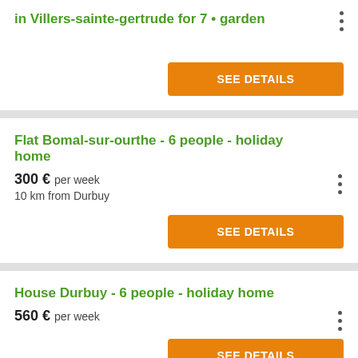in Villers-sainte-gertrude for 7 • garden
SEE DETAILS
Flat Bomal-sur-ourthe - 6 people - holiday home
300 € per week
10 km from Durbuy
SEE DETAILS
House Durbuy - 6 people - holiday home
560 € per week
SEE DETAILS